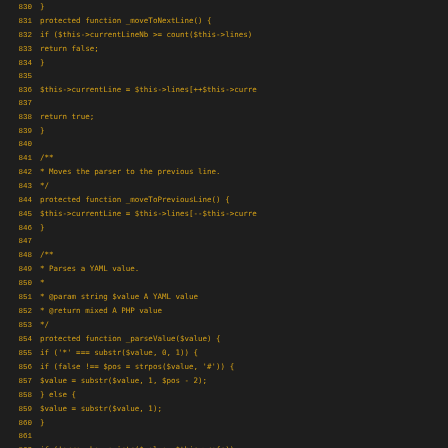[Figure (screenshot): Source code snippet showing PHP class methods: _moveToNextLine(), _moveToPreviousLine(), and _parseValue() with syntax highlighting on dark background. Line numbers 830-863 visible.]